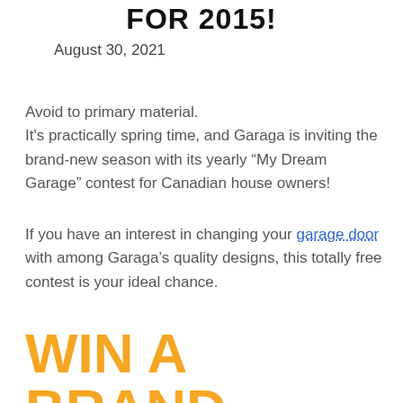FOR 2015!
August 30, 2021
Avoid to primary material.
It's practically spring time, and Garaga is inviting the brand-new season with its yearly “My Dream Garage” contest for Canadian house owners!
If you have an interest in changing your garage door with among Garaga’s quality designs, this totally free contest is your ideal chance.
WIN A BRAND NAME NEW